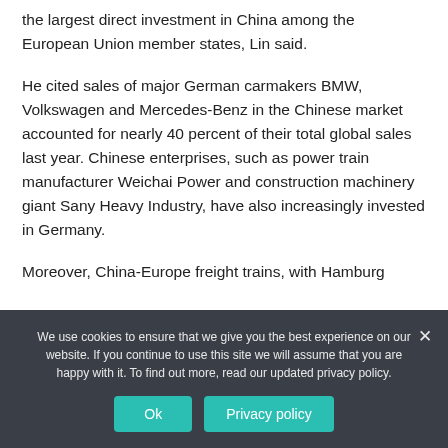the largest direct investment in China among the European Union member states, Lin said.
He cited sales of major German carmakers BMW, Volkswagen and Mercedes-Benz in the Chinese market accounted for nearly 40 percent of their total global sales last year. Chinese enterprises, such as power train manufacturer Weichai Power and construction machinery giant Sany Heavy Industry, have also increasingly invested in Germany.
Moreover, China-Europe freight trains, with Hamburg
We use cookies to ensure that we give you the best experience on our website. If you continue to use this site we will assume that you are happy with it. To find out more, read our updated privacy policy.
Ok
Privacy policy